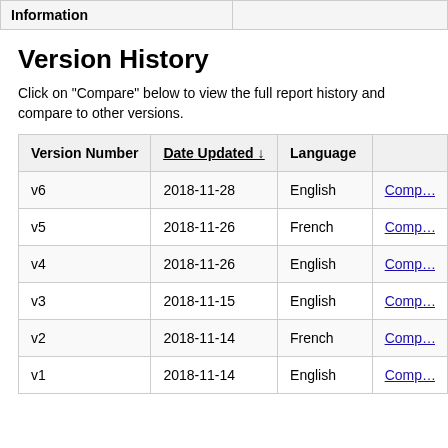| Information |  |
| --- | --- |
Version History
Click on "Compare" below to view the full report history and compare to other versions.
| Version Number | Date Updated ↓ | Language |  |
| --- | --- | --- | --- |
| v6 | 2018-11-28 | English | Comp… |
| v5 | 2018-11-26 | French | Comp… |
| v4 | 2018-11-26 | English | Comp… |
| v3 | 2018-11-15 | English | Comp… |
| v2 | 2018-11-14 | French | Comp… |
| v1 | 2018-11-14 | English | Comp… |